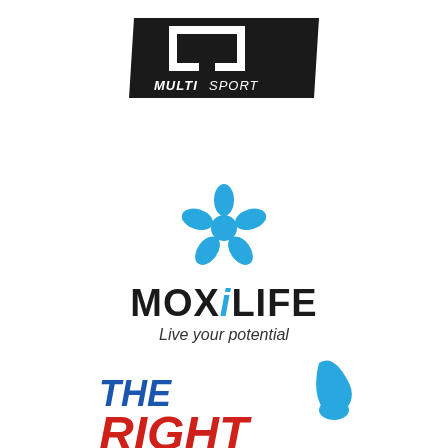[Figure (logo): MultiSport logo: bold black geometric icon above text reading MULTI SPORT in black italic bold typeface on a black diagonal banner]
[Figure (logo): MOXiLIFE logo: blue flower/droplet pinwheel icon above text MOXiLIFE in bold black with italic blue i, and tagline 'Live your potential' in italic gray]
[Figure (logo): THE RIGHT logo: partial view showing 'THE RIGHT' text in bold italic red and blue, with a blue water-drop icon to the right]